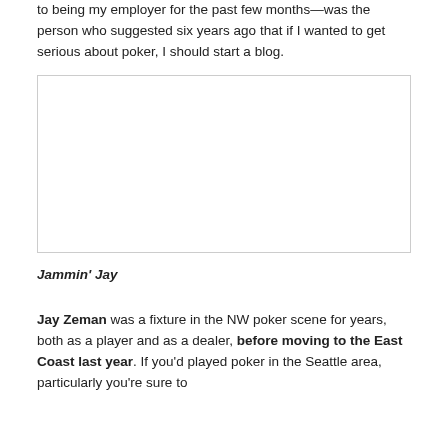to being my employer for the past few months—was the person who suggested six years ago that if I wanted to get serious about poker, I should start a blog.
[Figure (photo): A blank or empty image placeholder rectangle with a thin grey border.]
Jammin' Jay
Jay Zeman was a fixture in the NW poker scene for years, both as a player and as a dealer, before moving to the East Coast last year. If you'd played poker in the Seattle area, particularly you're sure to